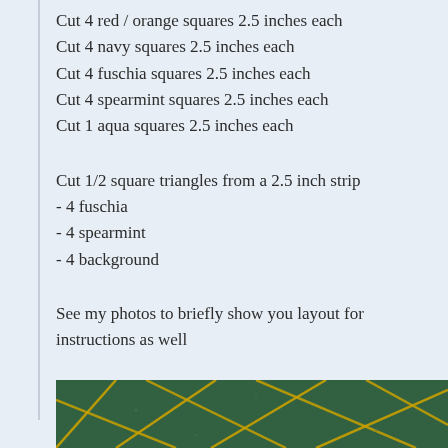Cut 4 red / orange squares 2.5 inches each
Cut 4 navy squares 2.5 inches each
Cut 4 fuschia squares 2.5 inches each
Cut 4 spearmint squares 2.5 inches each
Cut 1 aqua squares 2.5 inches each
Cut 1/2 square triangles from a 2.5 inch strip
- 4 fuschia
- 4 spearmint
- 4 background
See my photos to briefly show you layout for instructions as well
[Figure (photo): A green cutting mat with yellow grid lines, photographed from above showing a quilting/cutting surface]